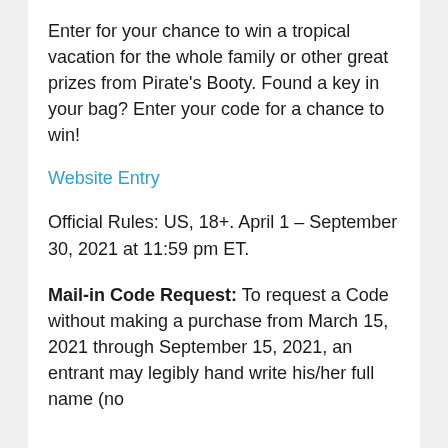Enter for your chance to win a tropical vacation for the whole family or other great prizes from Pirate's Booty. Found a key in your bag? Enter your code for a chance to win!
Website Entry
Official Rules: US, 18+. April 1 – September 30, 2021 at 11:59 pm ET.
Mail-in Code Request: To request a Code without making a purchase from March 15, 2021 through September 15, 2021, an entrant may legibly hand write his/her full name (no